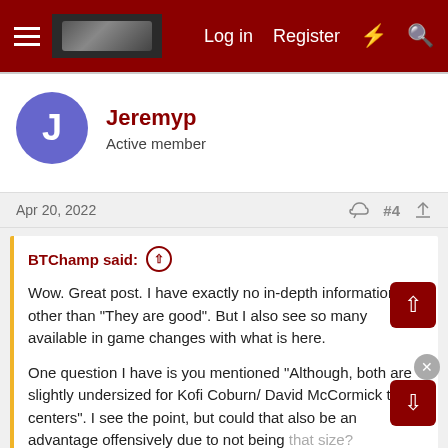Log in  Register
Jeremyp
Active member
Apr 20, 2022  #4
BTChamp said: ↑
Wow. Great post. I have exactly no in-depth information other than "They are good". But I also see so many available in game changes with what is here.

One question I have is you mentioned "Although, both are slightly undersized for Kofi Coburn/ David McCormick type centers". I see the point, but could that also be an advantage offensively due to not being that size? Potentially netting the to f...trouble. Just a question.
Click to expand...
Great question. They will for sure be quicker and more athletic than traditional bigs, but neither quite has the skill set to draw them out of the paint and make them guard